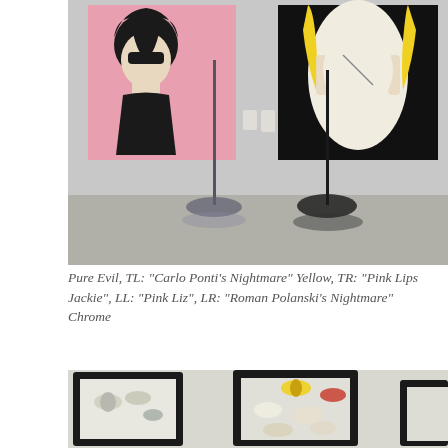[Figure (photo): Gallery installation photo showing two pop-art style paintings on a white wall: left painting features a figure with black hair on pink background, right painting features a figure with yellow/blonde hair on black and white background. Two tall metal stands with circular bases are in the foreground on a concrete floor.]
Pure Evil, TL: "Carlo Ponti's Nightmare" Yellow, TR: "Pink Lips Jackie", LL: "Pink Liz", LR: "Roman Polanski's Nightmare" Chrome
[Figure (photo): Partial view of framed butterfly display cases/shadow boxes with mounted butterflies visible inside black frames on a white surface.]